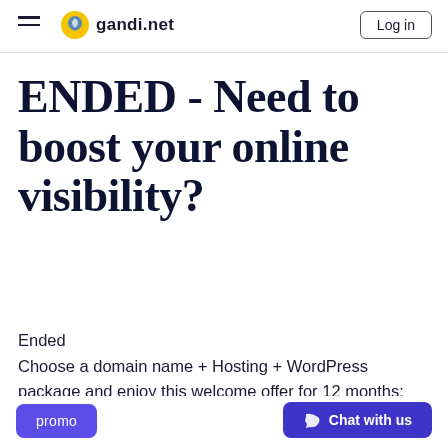gandi.net — Log in
ENDED - Need to boost your online visibility?
Ended
Choose a domain name + Hosting + WordPress package and enjoy this welcome offer for 12 months: 50% off hosting and a .fr domain name for free!
promo   Chat with us